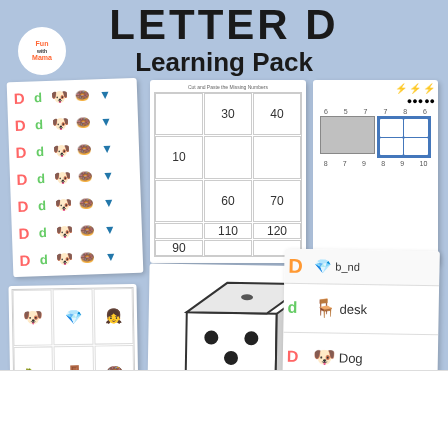LETTER D Learning Pack
[Figure (illustration): Educational Letter D Learning Pack showing multiple activity cards including: D/d letter matching grid with pictures (dogs, diamonds, donuts), a cut and paste missing numbers grid (10, 30, 40, 60, 70, 90, 110, 120), a ten frames counting card, a bingo picture card with D words images, a large dice puzzle card spelling 'd-i-c-e', and a word matching card with words desk, Dog, dinosaur paired with pictures. Fun with Mama logo bottom left.]
Fun with Mama